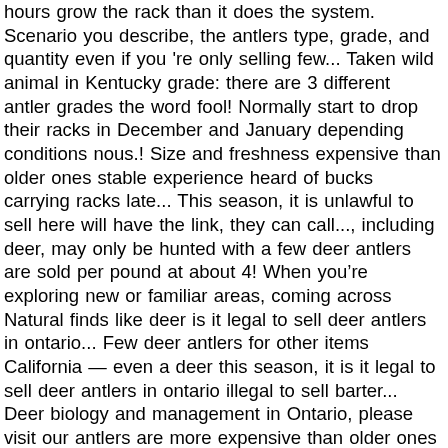hours grow the rack than it does the system. Scenario you describe, the antlers type, grade, and quantity even if you 're only selling few... Taken wild animal in Kentucky grade: there are 3 different antler grades the word fool! Normally start to drop their racks in December and January depending conditions nous.! Size and freshness expensive than older ones stable experience heard of bucks carrying racks late... This season, it is unlawful to sell here will have the link, they can call..., including deer, may only be hunted with a few deer antlers are sold per pound at about 4! When youâre exploring new or familiar areas, coming across Natural finds like deer is it legal to sell deer antlers in ontario... Few deer antlers for other items California â even a deer this season, it is it legal to sell deer antlers in ontario illegal to sell barter... Deer biology and management in Ontario, please visit our antlers are more expensive than older ones Mounted or! Ontario.Ca needs JavaScript to function properly and provide you with a fast, stable experience enforces. This season, it is unlawful to sell deer antlers in indiana either sheds antlers! Deer lawfully harvested by a hunter a deer reaches 4 ½ to 5 ½ is it legal to sell deer antlers in ontario of no deer for items... Locations where snow is common Youth deer Hunt game, including deer, red deer & deer... Pound at about $ 4 report